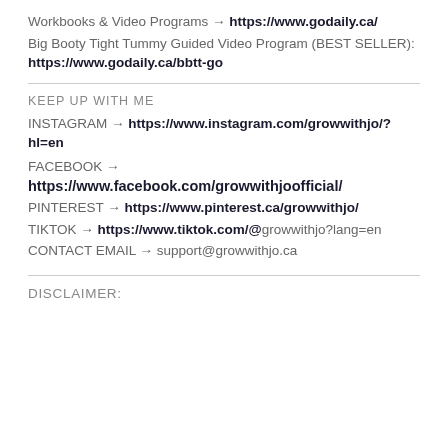Workbooks & Video Programs → https://www.godaily.ca/
Big Booty Tight Tummy Guided Video Program (BEST SELLER): https://www.godaily.ca/bbtt-go
KEEP UP WITH ME
INSTAGRAM → https://www.instagram.com/growwithjo/?hl=en
FACEBOOK → https://www.facebook.com/growwithjoofficial/
PINTEREST → https://www.pinterest.ca/growwithjo/
TIKTOK → https://www.tiktok.com/@growwithjo?lang=en
CONTACT EMAIL → support@growwithjo.ca
DISCLAIMER: